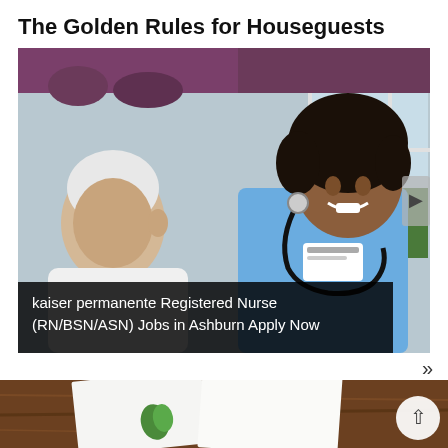The Golden Rules for Houseguests
[Figure (photo): A smiling nurse in blue scrubs with a stethoscope attending to an elderly patient in a home setting. Purple curtains and a window in background.]
kaiser permanente Registered Nurse (RN/BSN/ASN) Jobs in Ashburn Apply Now
[Figure (photo): Bottom strip showing papers on a wood table, partially visible, with a back-to-top arrow button.]